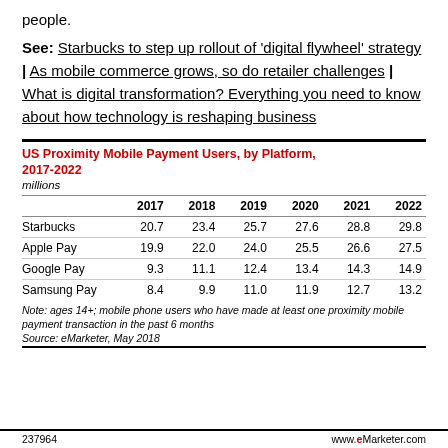people.
See: Starbucks to step up rollout of 'digital flywheel' strategy | As mobile commerce grows, so do retailer challenges | What is digital transformation? Everything you need to know about how technology is reshaping business
|  | 2017 | 2018 | 2019 | 2020 | 2021 | 2022 |
| --- | --- | --- | --- | --- | --- | --- |
| Starbucks | 20.7 | 23.4 | 25.7 | 27.6 | 28.8 | 29.8 |
| Apple Pay | 19.9 | 22.0 | 24.0 | 25.5 | 26.6 | 27.5 |
| Google Pay | 9.3 | 11.1 | 12.4 | 13.4 | 14.3 | 14.9 |
| Samsung Pay | 8.4 | 9.9 | 11.0 | 11.9 | 12.7 | 13.2 |
Note: ages 14+; mobile phone users who have made at least one proximity mobile payment transaction in the past 6 months
Source: eMarketer, May 2018
237964   www.eMarketer.com